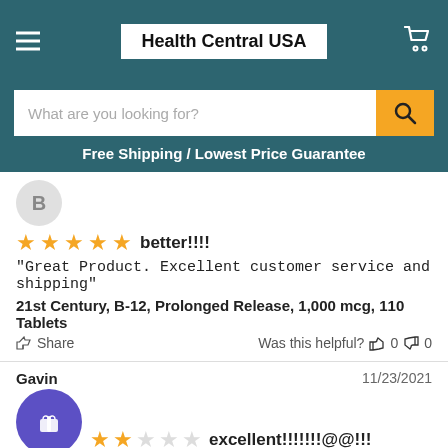Health Central USA
What are you looking for?
Free Shipping / Lowest Price Guarantee
[Figure (other): Reviewer avatar circle with letter B]
better!!!!
"Great Product. Excellent customer service and shipping"
21st Century, B-12, Prolonged Release, 1,000 mcg, 110 Tablets
Share   Was this helpful? 0   0
Gavin   11/23/2021
[Figure (other): Reviewer avatar circle with gift icon, purple background]
excellent!!!!!!!@@!!!
"Great Product. Excellent customer service and shipping"